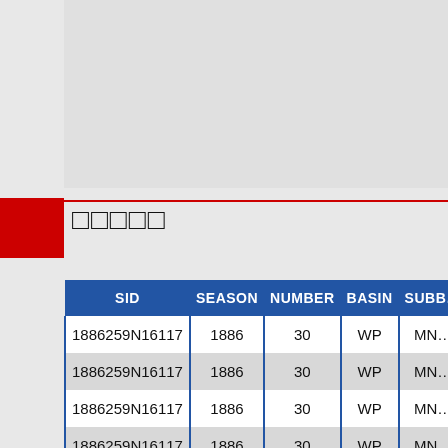[Figure (map): Gray map area/background region at top of page]
□□□□□
| SID | SEASON | NUMBER | BASIN | SUBB… |
| --- | --- | --- | --- | --- |
| 1886259N16117 | 1886 | 30 | WP | MN… |
| 1886259N16117 | 1886 | 30 | WP | MN… |
| 1886259N16117 | 1886 | 30 | WP | MN… |
| 1886259N16117 | 1886 | 30 | WP | MN… |
| 1886259N16117 | 1886 | 30 | WP | MN… |